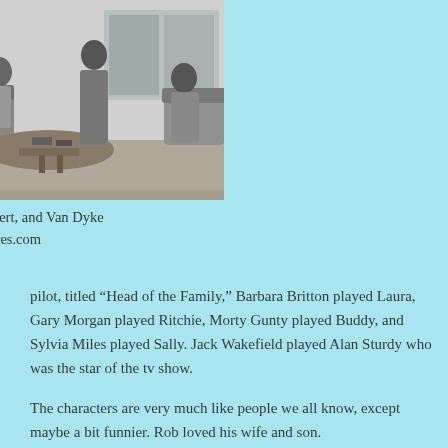[Figure (photo): Black and white photo of four people (Moore, Paris, Guilbert, and Van Dyke) sitting around a coffee table in a living room setting.]
Moore, Paris, Guilbert, and Van Dyke
Photo: motionpictures.com
pilot, titled “Head of the Family,” Barbara Britton played Laura, Gary Morgan played Ritchie, Morty Gunty played Buddy, and Sylvia Miles played Sally. Jack Wakefield played Alan Sturdy who was the star of the tv show.
The characters are very much like people we all know, except maybe a bit funnier. Rob loved his wife and son.